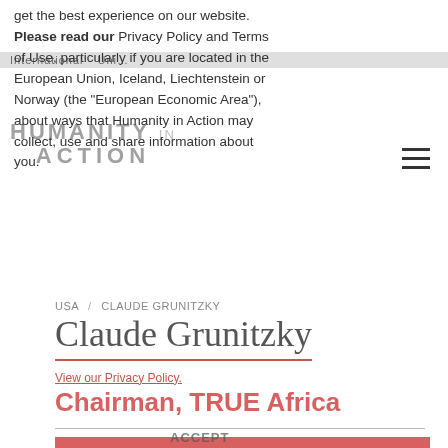get the best experience on our website. Please read our Privacy Policy and Terms of Use, particularly if you are located in the European Union, Iceland, Liechtenstein or Norway (the “European Economic Area”), about ways that Humanity in Action may collect, use and share information about you.
[Figure (logo): Humanity in Action logo watermark]
USA  /  CLAUDE GRUNITZKY
Claude Grunitzky
View our Privacy Policy.
Chairman, TRUE Africa
Board Member Humanity in Action, Inc.
2009 Pioneer Fellowship